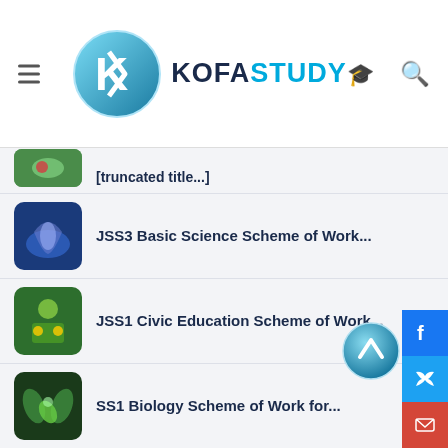KofaStudy
[partial/truncated item]
JSS3 Basic Science Scheme of Work...
JSS1 Civic Education Scheme of Work...
SS1 Biology Scheme of Work for...
SS1 Commerce Scheme of Work fo...
JSS2 Basic Technology Scheme of Work...